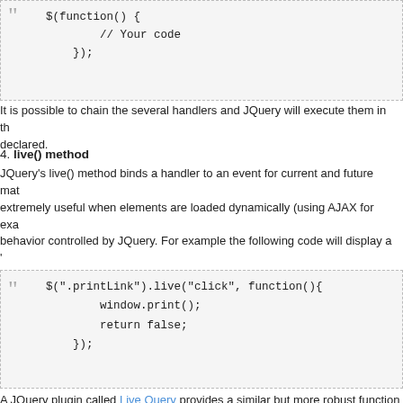[Figure (screenshot): Code block showing $(function() { // Your code }); with quote mark decoration]
It is possible to chain the several handlers and JQuery will execute them in the order declared.
4. live() method
JQuery's live() method binds a handler to an event for current and future matching elements. It is extremely useful when elements are loaded dynamically (using AJAX for example) but need their behavior controlled by JQuery. For example the following code will display a 'print' dialog when an element with class printLink is clicked.
[Figure (screenshot): Code block showing $(".printLink").live("click", function(){ window.print(); return false; }); with quote mark decoration]
A JQuery plugin called Live Query provides a similar but more robust functionality.
5. load() method
Provides a simple and convenient way to inject html content into an element in a web page. For example the following code injects html code of a
element with id 'paragraphId' inside test.html page into div with id 'someDivId': $('#someDivId').load('/test.html #paragraphId');
JQuery, Uncategorized   JQuery